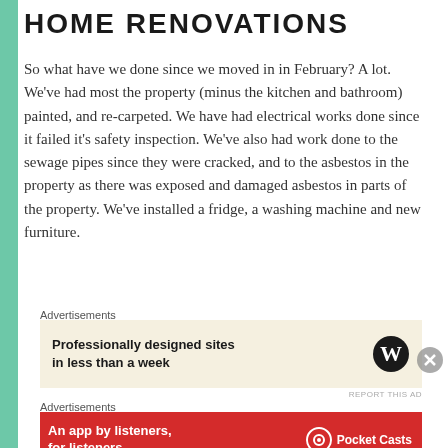HOME RENOVATIONS
So what have we done since we moved in in February? A lot. We've had most the property (minus the kitchen and bathroom) painted, and re-carpeted. We have had electrical works done since it failed it's safety inspection. We've also had work done to the sewage pipes since they were cracked, and to the asbestos in the property as there was exposed and damaged asbestos in parts of the property. We've installed a fridge, a washing machine and new furniture.
Advertisements
[Figure (screenshot): WordPress advertisement: Professionally designed sites in less than a week]
Advertisements
[Figure (screenshot): Pocket Casts advertisement: An app by listeners, for listeners.]